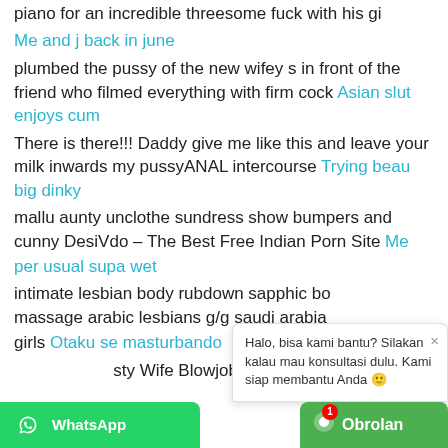piano for an incredible threesome fuck with his gi
Me and j back in june
plumbed the pussy of the new wifey s in front of the friend who filmed everything with firm cock Asian slut enjoys cum
There is there!!! Daddy give me like this and leave your milk inwards my pussyANAL intercourse Trying beau big dinky
mallu aunty unclothe sundress show bumpers and cunny DesiVdo – The Best Free Indian Porn Site Me per usual supa wet
intimate lesbian body rubdown sapphic bo massage arabic lesbians g/g saudi arabia girls Otaku se masturbando
sty Wife Blowjob and Fucked